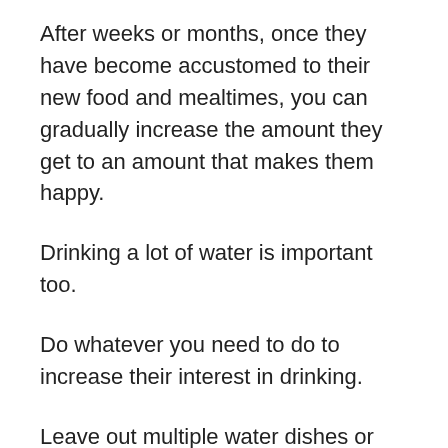After weeks or months, once they have become accustomed to their new food and mealtimes, you can gradually increase the amount they get to an amount that makes them happy.
Drinking a lot of water is important too.
Do whatever you need to do to increase their interest in drinking.
Leave out multiple water dishes or different cups or invest in one of those machines that constantly circulates water to interest him into drinking more.
Give your cat plenty of attention and help them to